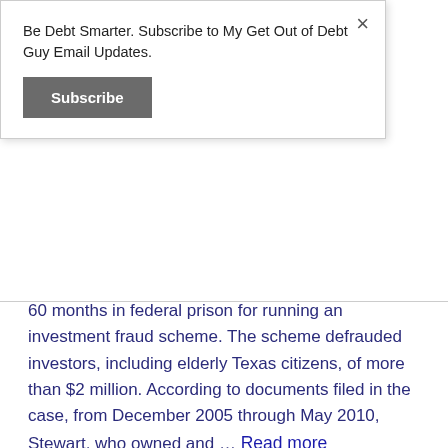Be Debt Smarter. Subscribe to My Get Out of Debt Guy Email Updates.
Subscribe
60 months in federal prison for running an investment fraud scheme. The scheme defrauded investors, including elderly Texas citizens, of more than $2 million. According to documents filed in the case, from December 2005 through May 2010, Stewart, who owned and … Read more
Scams in the News
Bureau of Prisons, Business/Finance, finance, Financial economics, financial-services, funds, Gluten, gluten/wheat-free food, Institutional